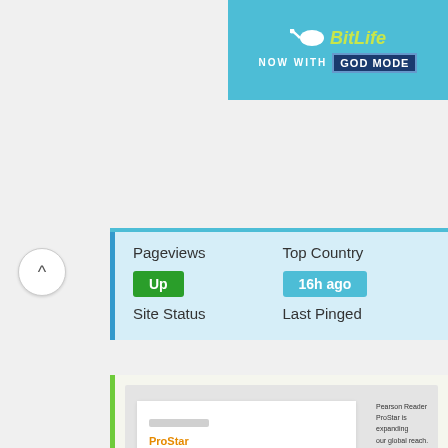[Figure (screenshot): BitLife advertisement banner: blue background with BitLife logo and 'NOW WITH GOD MODE' text]
Pageviews
Top Country
Up
16h ago
Site Status
Last Pinged
[Figure (screenshot): Website screenshot showing a login form with Username and Password fields, a Sign In button, and a right-side promotional area]